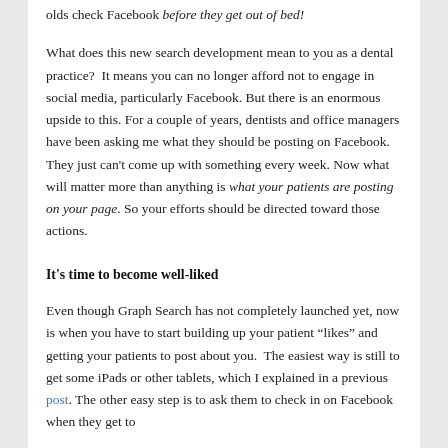olds check Facebook before they get out of bed!
What does this new search development mean to you as a dental practice? It means you can no longer afford not to engage in social media, particularly Facebook. But there is an enormous upside to this. For a couple of years, dentists and office managers have been asking me what they should be posting on Facebook. They just can't come up with something every week. Now what will matter more than anything is what your patients are posting on your page. So your efforts should be directed toward those actions.
It's time to become well-liked
Even though Graph Search has not completely launched yet, now is when you have to start building up your patient “likes” and getting your patients to post about you. The easiest way is still to get some iPads or other tablets, which I explained in a previous post. The other easy step is to ask them to check in on Facebook when they get to